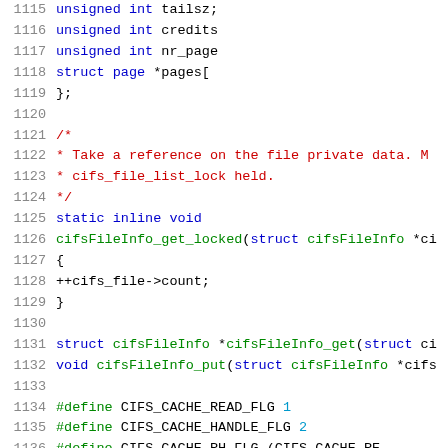Source code listing, lines 1115-1136, C language kernel code
1115: unsigned int tailsz;
1116: unsigned int credits
1117: unsigned int nr_page
1118: struct page *pages[
1119: };
1120: (blank)
1121: /*
1122:  * Take a reference on the file private data. M
1123:  * cifs_file_list_lock held.
1124:  */
1125: static inline void
1126: cifsFileInfo_get_locked(struct cifsFileInfo *ci
1127: {
1128:         ++cifs_file->count;
1129: }
1130: (blank)
1131: struct cifsFileInfo *cifsFileInfo_get(struct ci
1132: void cifsFileInfo_put(struct cifsFileInfo *cifs
1133: (blank)
1134: #define CIFS_CACHE_READ_FLG   1
1135: #define CIFS_CACHE_HANDLE_FLG  2
1136: #define CIFS_CACHE_RH_FLG      (CIFS_CACHE_RE